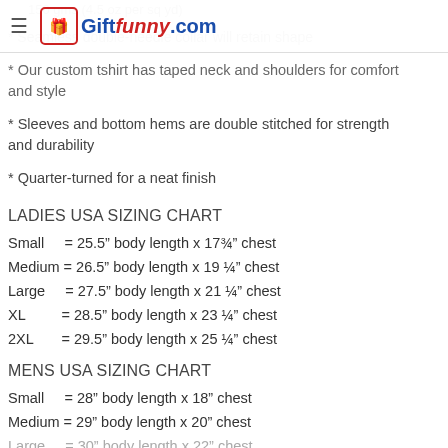Giftfunny.com
150 gms (4.5 oz per sq yd)
* Seamless double-needle collar will retain shape
* Our custom tshirt has taped neck and shoulders for comfort and style
* Sleeves and bottom hems are double stitched for strength and durability
* Quarter-turned for a neat finish
LADIES USA SIZING CHART
Small    = 25.5" body length x 17¾" chest
Medium = 26.5" body length x 19 ¼" chest
Large    = 27.5" body length x 21 ¼" chest
XL       = 28.5" body length x 23 ¼" chest
2XL      = 29.5" body length x 25 ¼" chest
MENS USA SIZING CHART
Small    = 28" body length x 18" chest
Medium = 29" body length x 20" chest
Large    = 30" body length x 22" chest